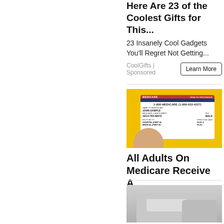Here Are 23 of the Coolest Gifts for This...
23 Insanely Cool Gadgets You'll Regret Not Getting...
CoolGifts | Sponsored
[Figure (photo): A hand holding a Medicare Health Insurance card against a yellow background]
All Adults On Medicare Receive A...
Simply Save Today | Sponsored
[Figure (photo): Partial image of vehicles, appears to be cars or vans in a parking area]